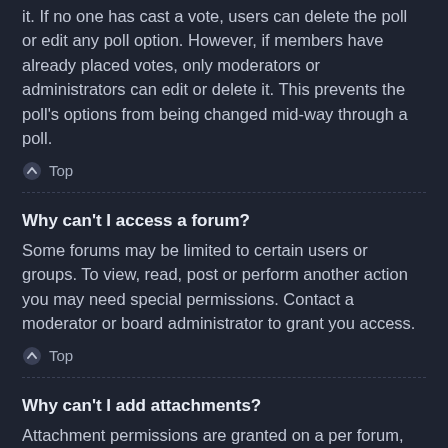it. If no one has cast a vote, users can delete the poll or edit any poll option. However, if members have already placed votes, only moderators or administrators can edit or delete it. This prevents the poll's options from being changed mid-way through a poll.
⬆ Top
Why can't I access a forum?
Some forums may be limited to certain users or groups. To view, read, post or perform another action you may need special permissions. Contact a moderator or board administrator to grant you access.
⬆ Top
Why can't I add attachments?
Attachment permissions are granted on a per forum, per group, or per user basis. The board administrator may not have allowed attachments to be added for the specific forum you are posting in, or perhaps only certain groups can post attachments. Contact the board administrator if you are unsure about why you are unable to add attachments.